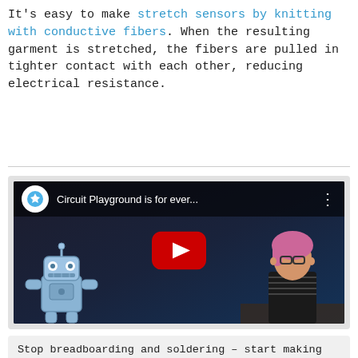It's easy to make stretch sensors by knitting with conductive fibers. When the resulting garment is stretched, the fibers are pulled in tighter contact with each other, reducing electrical resistance.
[Figure (screenshot): YouTube video embed showing 'Circuit Playground is for ever...' with a robot mascot and a woman with pink hair in a workshop setting. Large red play button in center.]
Stop breadboarding and soldering – start making immediately! Adafruit's Circuit Playground is jam-packed with LEDs, sensors, buttons, alligator clip pads and